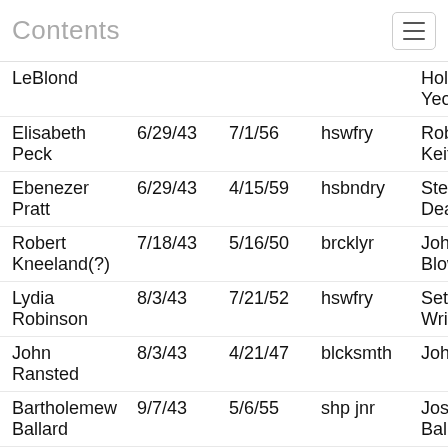Contents
| Name | Date1 | Date2 | Trade | Master |
| --- | --- | --- | --- | --- |
| LeBlond |  |  |  | Holmes, Yeo |
| Elisabeth Peck | 6/29/43 | 7/1/56 | hswfry | Robert Keith |
| Ebenezer Pratt | 6/29/43 | 4/15/59 | hsbndry | Stephen Dean, Yeo. |
| Robert Kneeland(?) | 7/18/43 | 5/16/50 | brcklyr | John Blower |
| Lydia Robinson | 8/3/43 | 7/21/52 | hswfry | Seth Wright |
| John Ransted | 8/3/43 | 4/21/47 | blcksmth | John Bent |
| Bartholemew Ballard | 9/7/43 | 5/6/55 | shp jnr | Joseph Ballard |
| Samuel Hurst | 9/7/43 | 5/3/51 | tailor | Benjamin Renken |